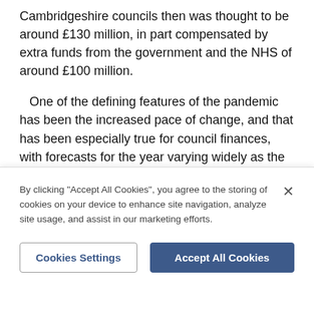Cambridgeshire councils then was thought to be around £130 million, in part compensated by extra funds from the government and the NHS of around £100 million.
One of the defining features of the pandemic has been the increased pace of change, and that has been especially true for council finances, with forecasts for the year varying widely as the course of the virus changed and the government announced additional support.
The impact on services is likely to be felt next year
By clicking "Accept All Cookies", you agree to the storing of cookies on your device to enhance site navigation, analyze site usage, and assist in our marketing efforts.